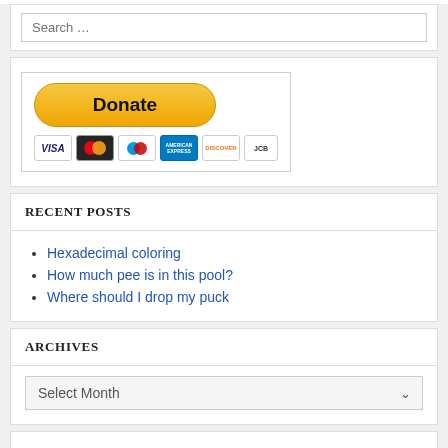Search …
[Figure (other): PayPal Donate button with credit card icons (Visa, Mastercard, Maestro, Amex, Discover, JCB)]
RECENT POSTS
Hexadecimal coloring
How much pee is in this pool?
Where should I drop my puck
ARCHIVES
Select Month